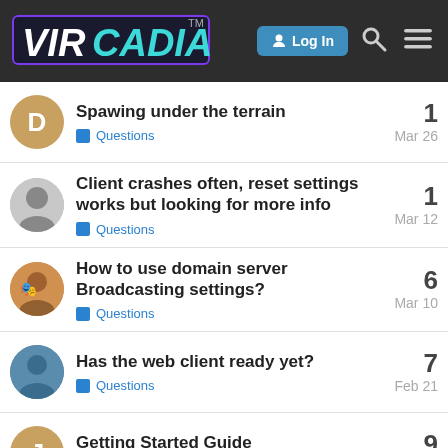[Figure (logo): VirCadia logo with TM mark, Log In button, search icon and hamburger menu on dark background]
Spawing under the terrain | Questions | Mar 26 | 1
Client crashes often, reset settings works but looking for more info | Questions | Mar 12 | 1
How to use domain server Broadcasting settings? | Questions | Mar 10 | 6
Has the web client ready yet? | Questions | Feb 21 | 7
Getting Started Guide | Tutorials, Resources, ... | Feb 17 | 9
Not able to reply to my Post | 0